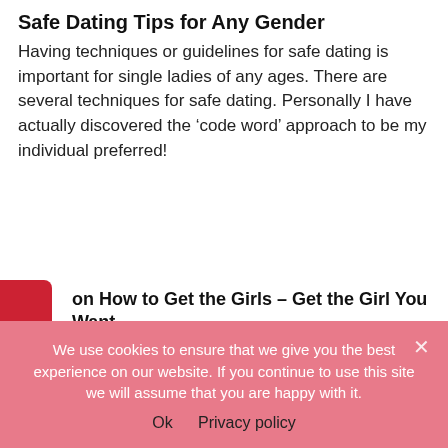Safe Dating Tips for Any Gender
Having techniques or guidelines for safe dating is important for single ladies of any ages. There are several techniques for safe dating. Personally I have actually discovered the ‘code word’ approach to be my individual preferred!
on How to Get the Girls – Get the Girl You Want
ou require guidance on how to get the ladies? Exist cular methods and suggestions in order to get the ladies? t enhancement do you require to produce yourself?
to Keep a Boyfriend – How to Keep Him Happy
is the name best method to keep a sweetheart? How do
We use cookies to ensure that we give you the best experience on our website. If you continue to use this site we will assume that you are happy with it.
Ok   Privacy policy